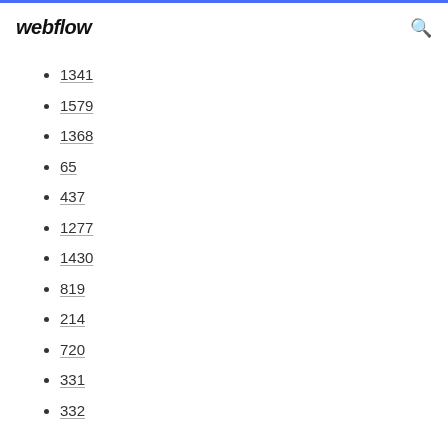webflow
1341
1579
1368
65
437
1277
1430
819
214
720
331
332